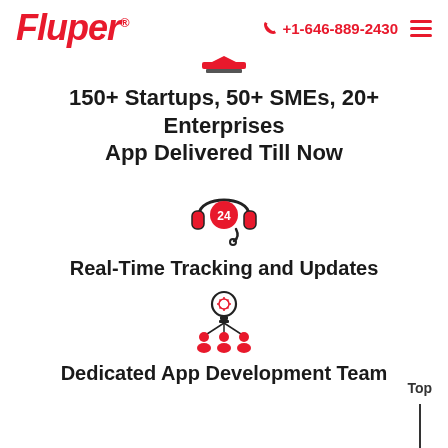Fluper® | +1-646-889-2430
[Figure (illustration): Red and dark hat/helmet icon - decorative divider]
150+ Startups, 50+ SMEs, 20+ Enterprises App Delivered Till Now
[Figure (illustration): 24/7 headset with microphone icon in red and black]
Real-Time Tracking and Updates
[Figure (illustration): Gear/lightbulb with team network icon in red and black]
Dedicated App Development Team
Top